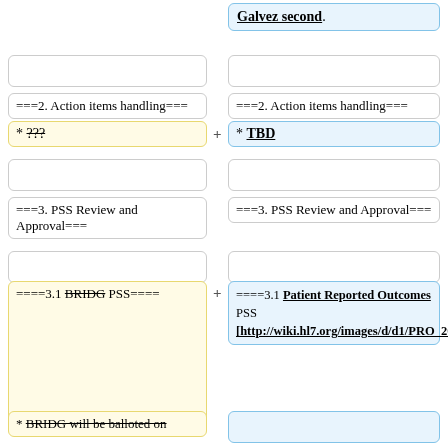Galvez second.
===2. Action items handling===
===2. Action items handling===
* ???
* TBD
===3. PSS Review and Approval===
===3. PSS Review and Approval===
====3.1 BRIDG PSS====
====3.1 Patient Reported Outcomes PSS [http://wiki.hl7.org/images/d/d1/PRO_2018_HL7_Jan_WG_PSS.pdf]====
* BRIDG will be balloted on